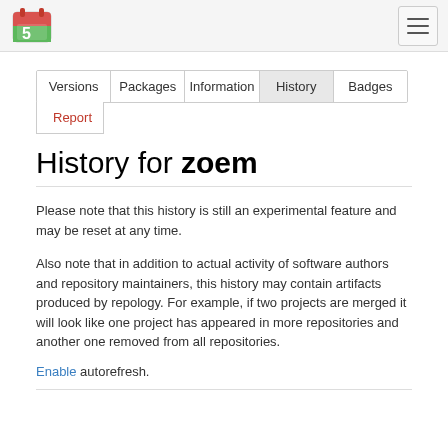[Figure (logo): Repology logo — red and green calendar/package icon]
[Figure (other): Hamburger menu button with three horizontal lines]
| Versions | Packages | Information | History | Badges |
| --- | --- | --- | --- | --- |
| Report |  |  |  |  |
History for zoem
Please note that this history is still an experimental feature and may be reset at any time.
Also note that in addition to actual activity of software authors and repository maintainers, this history may contain artifacts produced by repology. For example, if two projects are merged it will look like one project has appeared in more repositories and another one removed from all repositories.
Enable autorefresh.